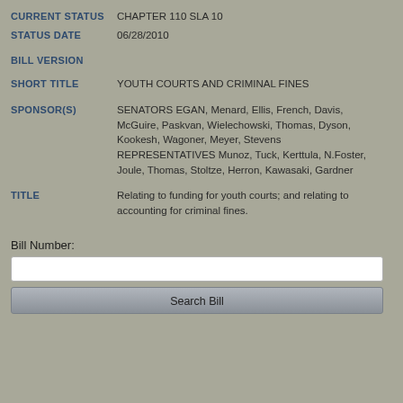CURRENT STATUS: CHAPTER 110 SLA 10
STATUS DATE: 06/28/2010
BILL VERSION
SHORT TITLE: YOUTH COURTS AND CRIMINAL FINES
SPONSOR(S): SENATORS EGAN, Menard, Ellis, French, Davis, McGuire, Paskvan, Wielechowski, Thomas, Dyson, Kookesh, Wagoner, Meyer, Stevens REPRESENTATIVES Munoz, Tuck, Kerttula, N.Foster, Joule, Thomas, Stoltze, Herron, Kawasaki, Gardner
TITLE: Relating to funding for youth courts; and relating to accounting for criminal fines.
Bill Number: